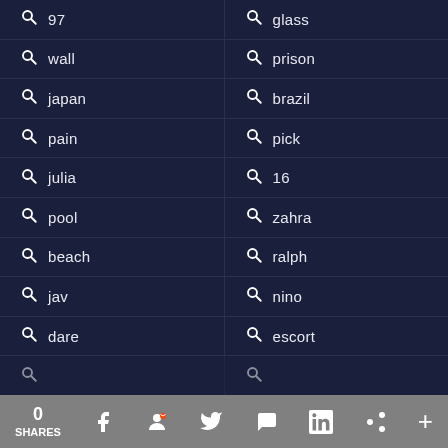97
glass
wall
prison
japan
brazil
pain
pick
julia
16
pool
zahra
beach
ralph
jav
nino
dare
escort
0 SHARES